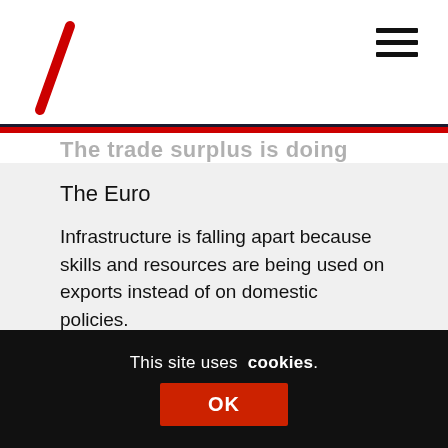The Euro
Infrastructure is falling apart because skills and resources are being used on exports instead of on domestic policies.
Even in Germany they are starting to recognise the EU is not working John. This is the first time I have heard it so clearly in all the years I have been coming here. We have told them for years what the problem is.
This site uses cookies. OK